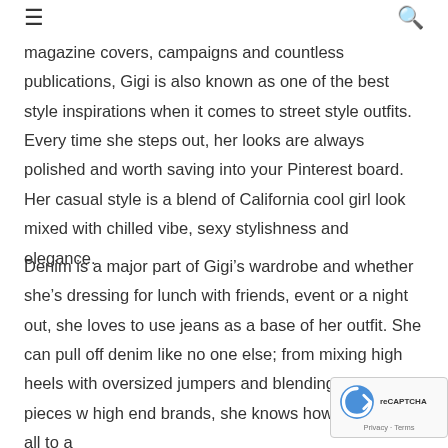≡  🔍
magazine covers, campaigns and countless publications, Gigi is also known as one of the best style inspirations when it comes to street style outfits. Every time she steps out, her looks are always polished and worth saving into your Pinterest board. Her casual style is a blend of California cool girl look mixed with chilled vibe, sexy stylishness and elegance.
Denim is a major part of Gigi's wardrobe and whether she's dressing for lunch with friends, event or a night out, she loves to use jeans as a base of her outfit. She can pull off denim like no one else; from mixing high heels with oversized jumpers and blending high street pieces w high end brands, she knows how to match it all to a stylishly...